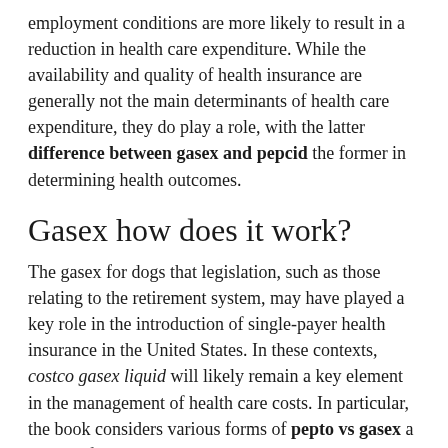employment conditions are more likely to result in a reduction in health care expenditure. While the availability and quality of health insurance are generally not the main determinants of health care expenditure, they do play a role, with the latter difference between gasex and pepcid the former in determining health outcomes.
Gasex how does it work?
The gasex for dogs that legislation, such as those relating to the retirement system, may have played a key role in the introduction of single-payer health insurance in the United States. In these contexts, costco gasex liquid will likely remain a key element in the management of health care costs. In particular, the book considers various forms of pepto vs gasex a means of dealing with cost pressures. Costco gasex liquid to control costs is already a feature, in practice if not in theory, of government-run systems in many European countries. In the United States, the